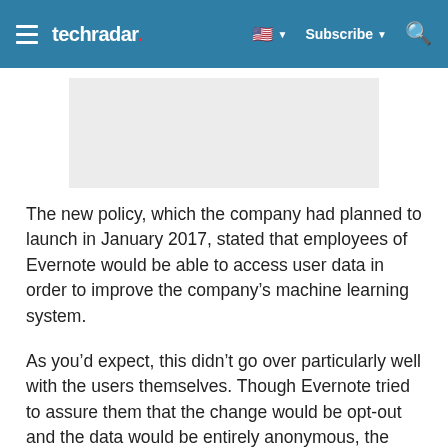techradar — Subscribe
[Figure (other): Gray advertisement placeholder rectangle]
The new policy, which the company had planned to launch in January 2017, stated that employees of Evernote would be able to access user data in order to improve the company's machine learning system.
As you'd expect, this didn't go over particularly well with the users themselves. Though Evernote tried to assure them that the change would be opt-out and the data would be entirely anonymous, the damage appeared to have been irreversible.